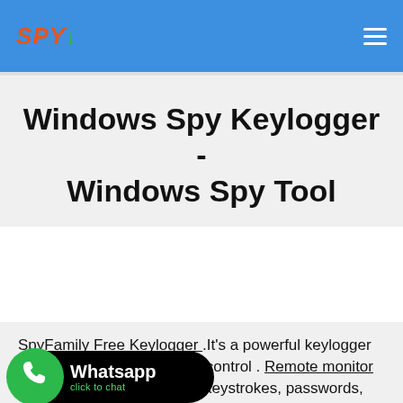SPY (logo) — hamburger menu
Windows Spy Keylogger - Windows Spy Tool
SpyFamily Free Keylogger .It's a powerful keylogger for children and employees control . Remote monitor ing on your PC – recording keystrokes, passwords, screenshots
[Figure (logo): WhatsApp click to chat button with green WhatsApp logo icon on black rounded rectangle background]